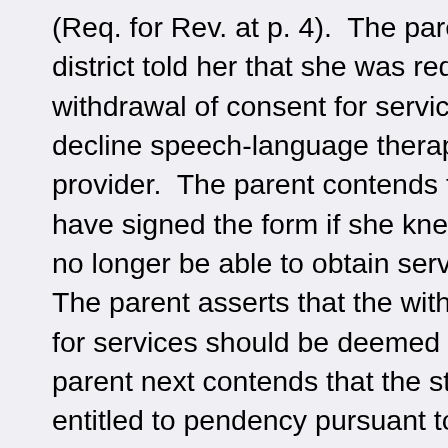(Req. for Rev. at p. 4).  The parent argues that the district told her that she was required to sign a withdrawal of consent for services in order to decline speech-language therapy from a particular provider.  The parent contends that she would not have signed the form if she knew that she would no longer be able to obtain services in the future.  The parent asserts that the withdrawal of consent for services should be deemed null and void.  The parent next contends that the student should be entitled to pendency pursuant to the October 2015 CPSE IEP and that in failing to award the student pendency services, the IHO denied the student a FAPE.  For relief, the parent requests that the withdrawal of consent be "disregard[ed]," that the IHO's interim order on pendency be vacated and